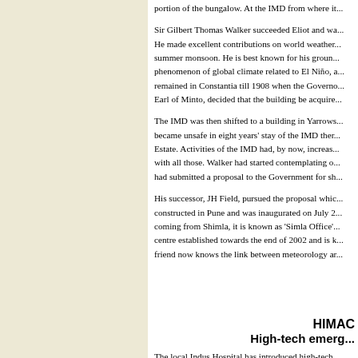portion of the bungalow. At the IMD from where it...
Sir Gilbert Thomas Walker succeeded Eliot and wa... He made excellent contributions on world weather... summer monsoon. He is best known for his groun... phenomenon of global climate related to El Niño, a... remained in Constantia till 1908 when the Governo... Earl of Minto, decided that the building be acquire...
The IMD was then shifted to a building in Yarrows... became unsafe in eight years' stay of the IMD ther... Estate. Activities of the IMD had, by now, increas... with all those. Walker had started contemplating o... had submitted a proposal to the Government for sh...
His successor, JH Field, pursued the proposal whic... constructed in Pune and was inaugurated on July 2... coming from Shimla, it is known as 'Simla Office'... centre established towards the end of 2002 and is k... friend now knows the link between meteorology ar...
HIMAC
High-tech emerg...
The local Indus Hospital has introduced high-tech... pattern with doctors and paramedics specially train...